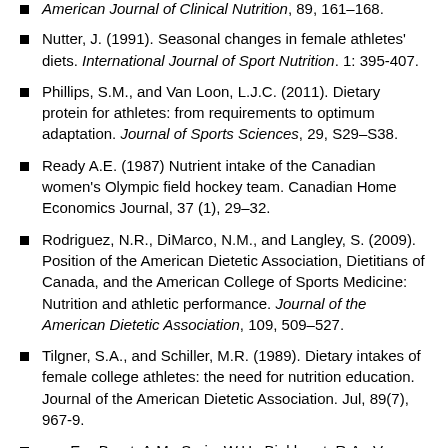American Journal of Clinical Nutrition, 89, 161–168.
Nutter, J. (1991). Seasonal changes in female athletes' diets. International Journal of Sport Nutrition. 1: 395-407.
Phillips, S.M., and Van Loon, L.J.C. (2011). Dietary protein for athletes: from requirements to optimum adaptation. Journal of Sports Sciences, 29, S29–S38.
Ready A.E. (1987) Nutrient intake of the Canadian women's Olympic field hockey team. Canadian Home Economics Journal, 37 (1), 29–32.
Rodriguez, N.R., DiMarco, N.M., and Langley, S. (2009). Position of the American Dietetic Association, Dietitians of Canada, and the American College of Sports Medicine: Nutrition and athletic performance. Journal of the American Dietetic Association, 109, 509–527.
Tilgner, S.A., and Schiller, M.R. (1989). Dietary intakes of female college athletes: the need for nutrition education. Journal of the American Dietetic Association. Jul, 89(7), 967-9.
van Erp-Baart, A.M., Saris, W.H., Binkhorst, R.A., Vos,